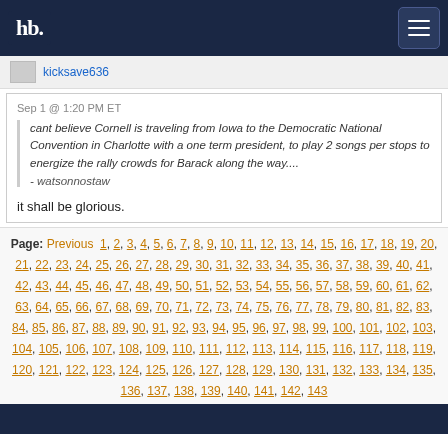hb. [navigation logo]
kicksave636
Sep 1 @ 1:20 PM ET
cant believe Cornell is traveling from Iowa to the Democratic National Convention in Charlotte with a one term president, to play 2 songs per stops to energize the rally crowds for Barack along the way.... - watsonnostaw
it shall be glorious.
Page: Previous 1, 2, 3, 4, 5, 6, 7, 8, 9, 10, 11, 12, 13, 14, 15, 16, 17, 18, 19, 20, 21, 22, 23, 24, 25, 26, 27, 28, 29, 30, 31, 32, 33, 34, 35, 36, 37, 38, 39, 40, 41, 42, 43, 44, 45, 46, 47, 48, 49, 50, 51, 52, 53, 54, 55, 56, 57, 58, 59, 60, 61, 62, 63, 64, 65, 66, 67, 68, 69, 70, 71, 72, 73, 74, 75, 76, 77, 78, 79, 80, 81, 82, 83, 84, 85, 86, 87, 88, 89, 90, 91, 92, 93, 94, 95, 96, 97, 98, 99, 100, 101, 102, 103, 104, 105, 106, 107, 108, 109, 110, 111, 112, 113, 114, 115, 116, 117, 118, 119, 120, 121, 122, 123, 124, 125, 126, 127, 128, 129, 130, 131, 132, 133, 134, 135, 136, 137, 138, 139, 140, 141, 142, 143